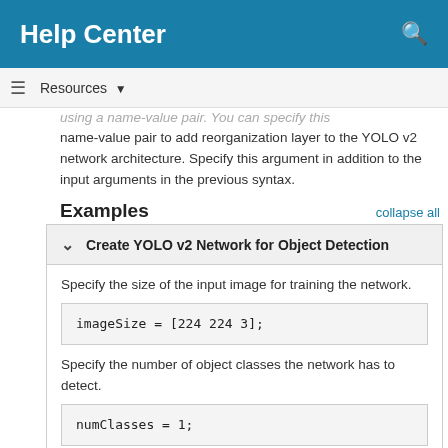Help Center
using a name-value pair. You can specify this name-value pair to add reorganization layer to the YOLO v2 network architecture. Specify this argument in addition to the input arguments in the previous syntax.
Examples
Create YOLO v2 Network for Object Detection
Specify the size of the input image for training the network.
imageSize = [224 224 3];
Specify the number of object classes the network has to detect.
numClasses = 1;